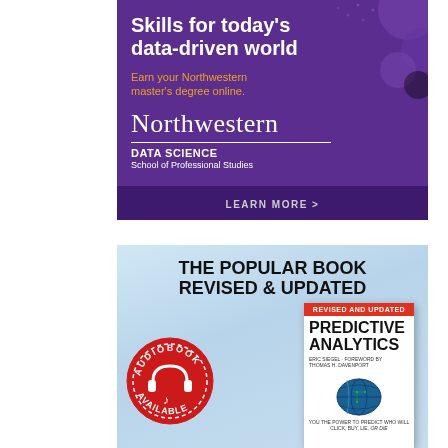[Figure (infographic): Northwestern University Data Science advertisement with purple background. Text: 'Skills for today's data-driven world', 'Earn your Northwestern master's degree online.', 'Northwestern', 'DATA SCIENCE', 'School of Professional Studies', 'LEARN MORE >']
[Figure (infographic): Predictive Analytics book advertisement with light blue background. Text: 'THE POPULAR BOOK REVISED & UPDATED', audiobook badge, book cover showing 'REVISED AND UPDATED', 'PREDICTIVE ANALYTICS', globe image, 'YOU THE POWER TO PREDICT WHO WILL CLICK, BUY, LIE, OR DIE']